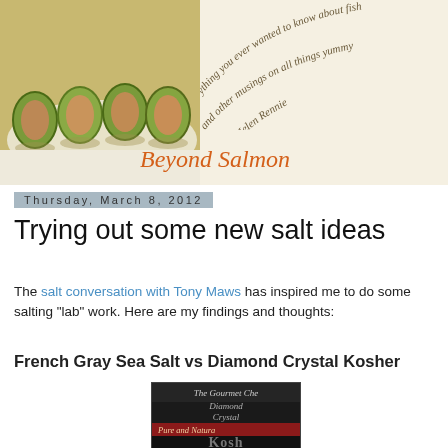[Figure (photo): Beyond Salmon blog banner with food photo on left showing cucumber rolls filled with salmon, and cursive text on right reading 'everything you ever wanted to know about fish and other musings on all things yummy by Helen Rennie', with 'Beyond Salmon' in orange italic script at bottom left of banner]
Thursday, March 8, 2012
Trying out some new salt ideas
The salt conversation with Tony Maws has inspired me to do some salting "lab" work.  Here are my findings and thoughts:
French Gray Sea Salt vs Diamond Crystal Kosher
[Figure (photo): Close-up photo of Diamond Crystal Kosher salt box showing 'The Gourmet Chef', Diamond Crystal logo, 'Pure and Natural', and partial text at bottom]